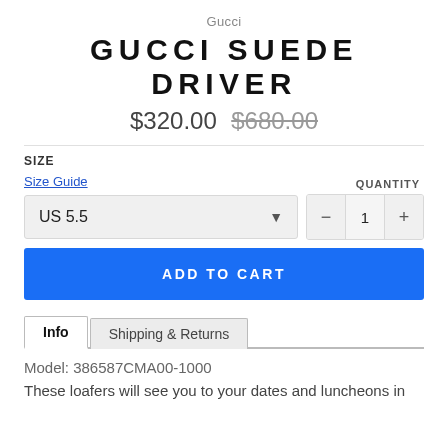Gucci
GUCCI SUEDE DRIVER
$320.00  $680.00
SIZE
Size Guide
QUANTITY
US 5.5
1
ADD TO CART
Info	Shipping & Returns
Model: 386587CMA00-1000
These loafers will see you to your dates and luncheons in